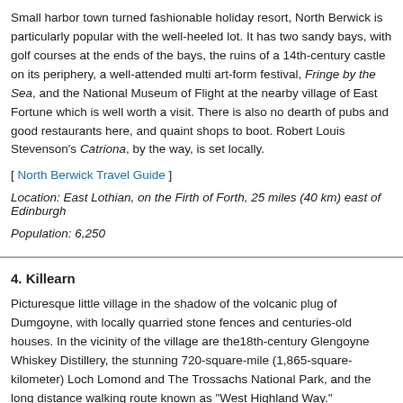Small harbor town turned fashionable holiday resort, North Berwick is particularly popular with the well-heeled lot. It has two sandy bays, with golf courses at the ends of the bays, the ruins of a 14th-century castle on its periphery, a well-attended multi art-form festival, Fringe by the Sea, and the National Museum of Flight at the nearby village of East Fortune which is well worth a visit. There is also no dearth of pubs and good restaurants here, and quaint shops to boot. Robert Louis Stevenson's Catriona, by the way, is set locally.
[ North Berwick Travel Guide ]
Location: East Lothian, on the Firth of Forth, 25 miles (40 km) east of Edinburgh
Population: 6,250
4. Killearn
Picturesque little village in the shadow of the volcanic plug of Dumgoyne, with locally quarried stone fences and centuries-old houses. In the vicinity of the village are the 18th century Glengoyne Whiskey Distillery, the stunning 720-square-mile (1,865-square-kilometer) Loch Lomond and The Trossachs National Park, and the long distance walking route known as "West Highland Way."
[ Killearn Travel Guide ]
Location: Stirling Area, 15 miles (24 km) north of Glasgow, 50 miles (80 km) north...